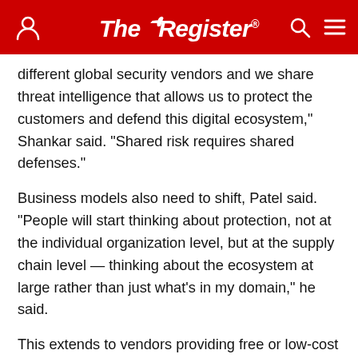The Register
different global security vendors and we share threat intelligence that allows us to protect the customers and defend this digital ecosystem," Shankar said. "Shared risk requires shared defenses."
Business models also need to shift, Patel said. "People will start thinking about protection, not at the individual organization level, but at the supply chain level — thinking about the ecosystem at large rather than just what's in my domain," he said.
This extends to vendors providing free or low-cost security to nonprofits and NGOs, and larger firms' using their buying power to help smaller organizations improve their security posture, Patel added.